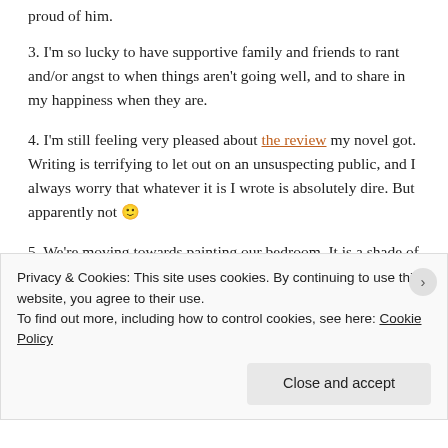proud of him.
3. I'm so lucky to have supportive family and friends to rant and/or angst to when things aren't going well, and to share in my happiness when they are.
4. I'm still feeling very pleased about the review my novel got. Writing is terrifying to let out on an unsuspecting public, and I always worry that whatever it is I wrote is absolutely dire. But apparently not 🙂
5. We're moving towards painting our bedroom. It is a shade of pale pink that I do not like at all, and I shall be delighted
Privacy & Cookies: This site uses cookies. By continuing to use this website, you agree to their use.
To find out more, including how to control cookies, see here: Cookie Policy
Close and accept